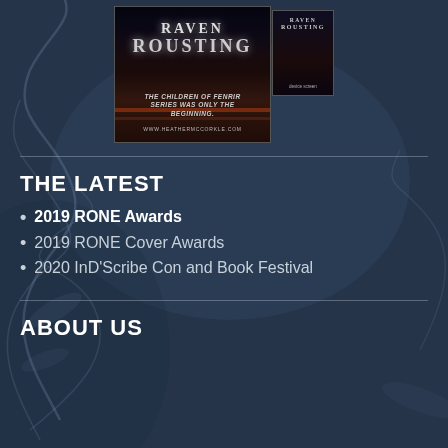[Figure (illustration): Advertisement for 'Raven Rousting' book series by Heather McCorkle. Shows book cover with dark fantasy design, text reading 'RAVEN ROUSTING', 'THE CHILDREN OF FENRIR SERIES WAS ONLY THE BEGINNING.', 'WWW.HEATHERMCCORKLE.COM']
THE LATEST
2019 RONE Awards
2019 RONE Cover Awards
2020 InD'Scribe Con and Book Festival
ABOUT US